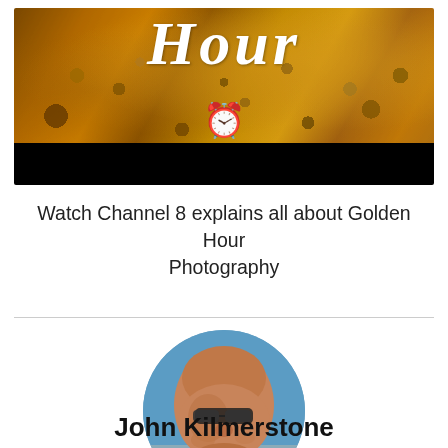[Figure (photo): Banner image for Golden Hour Photography with golden autumn foliage background, cursive white text reading 'Hour', an alarm clock emoji in the center, and a black bar at the bottom]
Watch Channel 8 explains all about Golden Hour Photography
[Figure (photo): Circular profile photo of a bald man wearing dark glasses, smiling, with a blue sky background]
John Kilmerstone